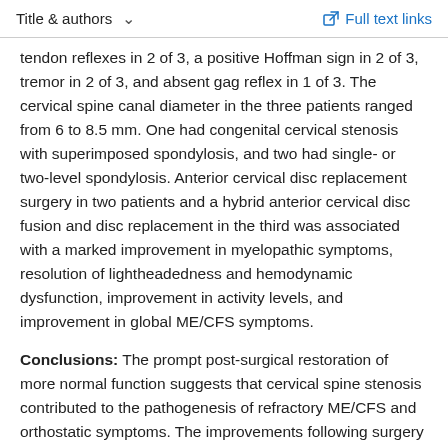Title & authors   Full text links
tendon reflexes in 2 of 3, a positive Hoffman sign in 2 of 3, tremor in 2 of 3, and absent gag reflex in 1 of 3. The cervical spine canal diameter in the three patients ranged from 6 to 8.5 mm. One had congenital cervical stenosis with superimposed spondylosis, and two had single- or two-level spondylosis. Anterior cervical disc replacement surgery in two patients and a hybrid anterior cervical disc fusion and disc replacement in the third was associated with a marked improvement in myelopathic symptoms, resolution of lightheadedness and hemodynamic dysfunction, improvement in activity levels, and improvement in global ME/CFS symptoms.
Conclusions: The prompt post-surgical restoration of more normal function suggests that cervical spine stenosis contributed to the pathogenesis of refractory ME/CFS and orthostatic symptoms. The improvements following surgery emphasize the importance of a careful